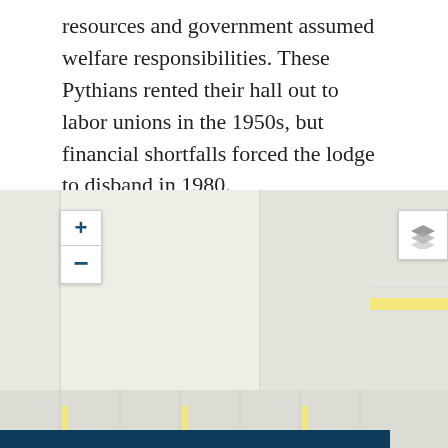resources and government assumed welfare responsibilities. These Pythians rented their hall out to labor unions in the 1950s, but financial shortfalls forced the lodge to disband in 1980.
[Figure (map): A map interface showing a geographic area with zoom controls (+ and -) on the left, a layers button on the top right, and a partially visible street map with yellow road markings. A dark blue cookie consent banner overlays the lower portion of the map.]
This website uses cookies to ensure you get the best experience on our website.
Got it!